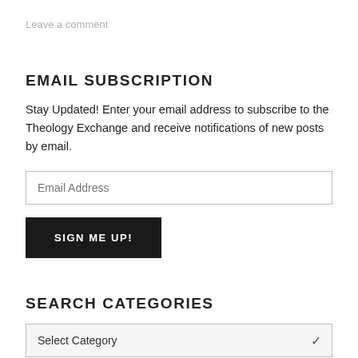Leave a comment
EMAIL SUBSCRIPTION
Stay Updated! Enter your email address to subscribe to the Theology Exchange and receive notifications of new posts by email.
Email Address
SIGN ME UP!
SEARCH CATEGORIES
Select Category